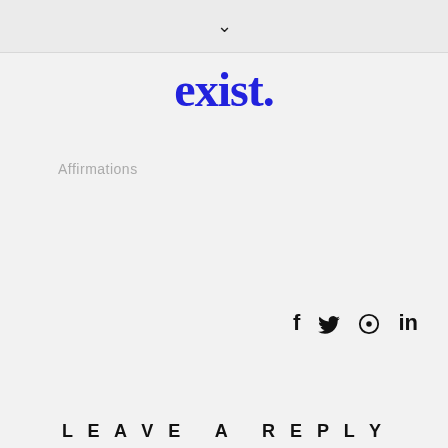✓
exist.
Affirmations
[Figure (other): Social media share icons: f (Facebook), bird (Twitter), circle-pin (Pinterest), in (LinkedIn)]
← PREVIOUS
SHAPED BY THE PAST
NEWER →
BE STRONGER TODAY THAN YOU WERE YESTERDAY
LEAVE A REPLY